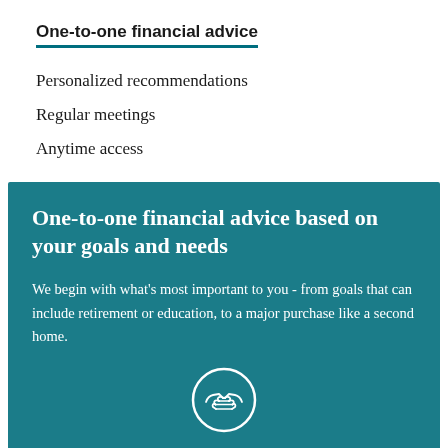One-to-one financial advice
Personalized recommendations
Regular meetings
Anytime access
One-to-one financial advice based on your goals and needs
We begin with what's most important to you - from goals that can include retirement or education, to a major purchase like a second home.
[Figure (illustration): White handshake icon inside a white circle outline on teal background]